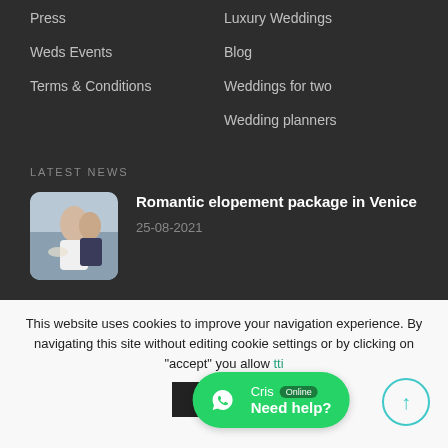Press
Luxury Weddings
Weds Events
Blog
Terms & Conditions
Weddings for two
Wedding planners
LATEST NEWS
[Figure (photo): Couple in Venice, bride holding bouquet, city background]
Romantic elopement package in Venice
25-08-2021
This website uses cookies to improve your navigation experience. By navigating this site without editing cookie settings or by clicking on "accept" you allow setting cookies.
ACCEPT
Cris Online Need help?